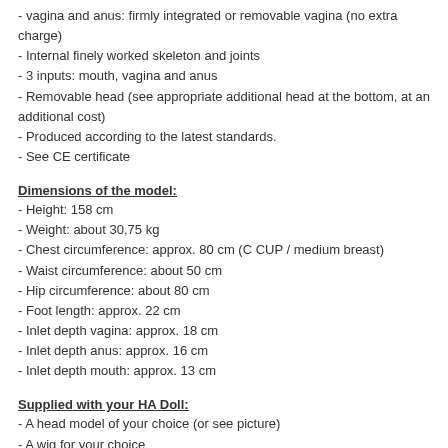- vagina and anus: firmly integrated or removable vagina (no extra charge)
- Internal finely worked skeleton and joints
- 3 inputs: mouth, vagina and anus
- Removable head (see appropriate additional head at the bottom, at an additional cost)
- Produced according to the latest standards.
- See CE certificate
Dimensions of the model:
- Height: 158 cm
- Weight: about 30,75 kg
- Chest circumference: approx. 80 cm (C CUP / medium breast)
- Waist circumference: about 50 cm
- Hip circumference: about 80 cm
- Foot length: approx. 22 cm
- Inlet depth vagina: approx. 18 cm
- Inlet depth anus: approx. 16 cm
- Inlet depth mouth: approx. 13 cm
Supplied with your HA Doll:
- A head model of your choice (or see picture)
- A wig for your choice
- Eyes of your choice